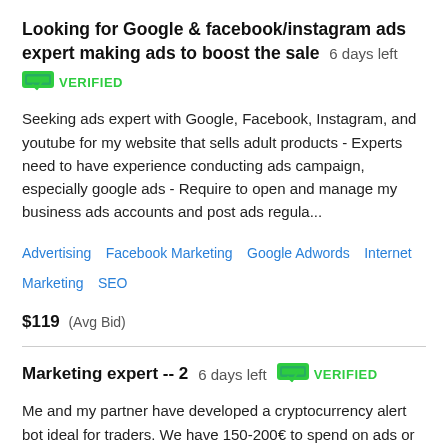Looking for Google & facebook/instagram ads expert making ads to boost the sale  6 days left
VERIFIED
Seeking ads expert with Google, Facebook, Instagram, and youtube for my website that sells adult products - Experts need to have experience conducting ads campaign, especially google ads - Require to open and manage my business ads accounts and post ads regula...
Advertising   Facebook Marketing   Google Adwords   Internet Marketing   SEO
$119  (Avg Bid)
Marketing expert -- 2  6 days left  VERIFIED
Me and my partner have developed a cryptocurrency alert bot ideal for traders. We have 150-200€ to spend on ads or promotions per month, we need a marketing expert who knows how to distribute them and generate profits